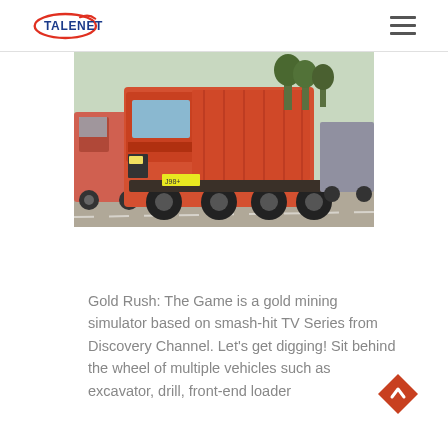TALENET
[Figure (photo): Large orange dump truck (SINOTRUK/Steyr brand) parked in a lot with other trucks visible in the background. The truck has a red/orange body with a large dump bed.]
Gold Rush: The Game is a gold mining simulator based on smash-hit TV Series from Discovery Channel. Let's get digging! Sit behind the wheel of multiple vehicles such as excavator, drill, front-end loader